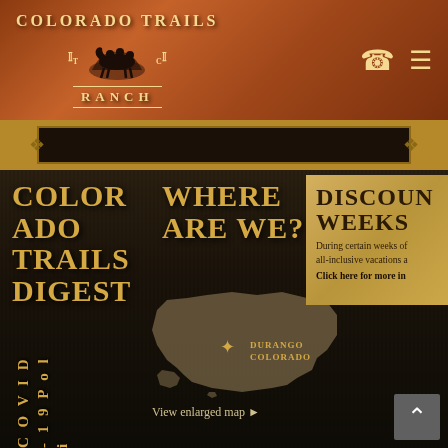[Figure (logo): Colorado Trails Ranch logo with horse and riders silhouette, golden text on brown leather background]
COLORADO TRAILS RANCH
[Figure (other): Dark navigation banner with ornamental corners]
COLORADO TRAILS DIGEST
WHERE ARE WE?
[Figure (map): Silhouette map of the United States with star marker at Durango, Colorado]
DURANGO COLORADO
View enlarged map ▶
DISCOUNT WEEKS
During certain weeks of all-inclusive vacations a
Click here for more in
C O V I D - 1 9 P o l i